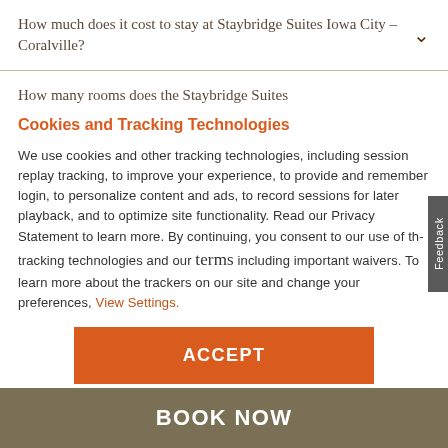How much does it cost to stay at Staybridge Suites Iowa City – Coralville?
How many rooms does the Staybridge Suites
Cookies and Tracking Technologies
We use cookies and other tracking technologies, including session replay tracking, to improve your experience, to provide and remember login, to personalize content and ads, to record sessions for later playback, and to optimize site functionality. Read our Privacy Statement to learn more. By continuing, you consent to our use of the tracking technologies and our terms including important waivers. To learn more about the trackers on our site and change your preferences, View Settings.
ACCEPT
BOOK NOW